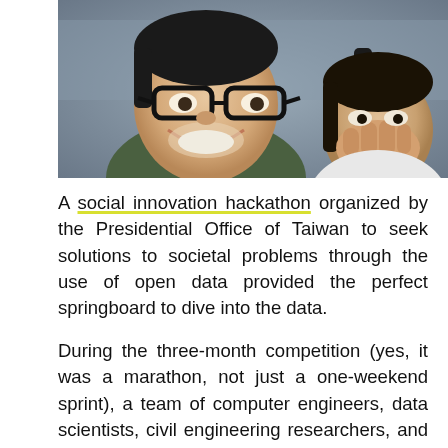[Figure (photo): Photo of two young people smiling and laughing, a man with glasses in the foreground and a woman covering her mouth in the background.]
A social innovation hackathon organized by the Presidential Office of Taiwan to seek solutions to societal problems through the use of open data provided the perfect springboard to dive into the data.
During the three-month competition (yes, it was a marathon, not just a one-weekend sprint), a team of computer engineers, data scientists, civil engineering researchers, and journalists worked together to: